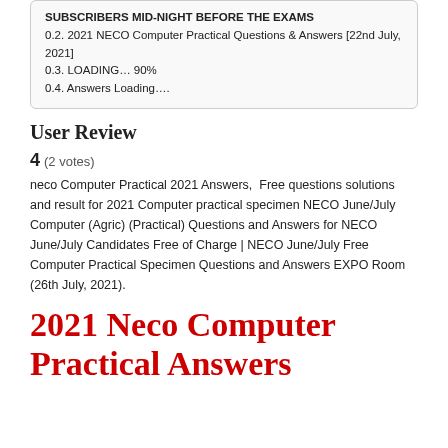SUBSCRIBERS MID-NIGHT BEFORE THE EXAMS
0.2. 2021 NECO Computer Practical Questions & Answers [22nd July, 2021]
0.3. LOADING… 90%
0.4. Answers Loading….
User Review
4 (2 votes)
neco Computer Practical 2021 Answers,  Free questions solutions and result for 2021 Computer practical specimen NECO June/July Computer (Agric) (Practical) Questions and Answers for NECO June/July Candidates Free of Charge | NECO June/July Free Computer Practical Specimen Questions and Answers EXPO Room (26th July, 2021).
2021 Neco Computer Practical Answers